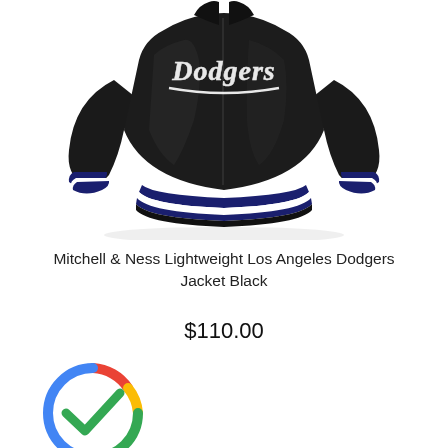[Figure (photo): Black Mitchell & Ness Los Angeles Dodgers lightweight satin bomber jacket with white scripted Dodgers logo on back, blue and white striped ribbed cuffs and hem]
Mitchell & Ness Lightweight Los Angeles Dodgers Jacket Black
$110.00
[Figure (logo): Google colored circle checkmark icon (Google Shopping verified / trusted store badge)]